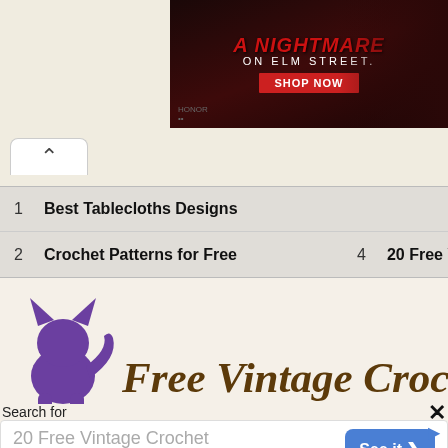[Figure (screenshot): Advertisement banner for 'A Nightmare on Elm Street' merchandise with dark red background, horror-style text, figures in horror costumes, and a 'SHOP NOW' red button]
[Figure (screenshot): Browser tab/navigation area showing a caret (up arrow) tab button]
1  Best Tablecloths Designs
2  Crochet Patterns for Free
3  Crochet Bedsp...
4  20 Free Vinta...
[Figure (logo): Free Vintage Crochet website logo featuring a purple sitting cat silhouette on the left and the text 'Free Vintage Croche' in brown italic serif font on the right, on a cream/beige background]
Search for
[Figure (screenshot): Search advertisement widget showing '20 Free Vintage Crochet Patterns' query text on left and a blue 'See it >' button on the right, on white background]